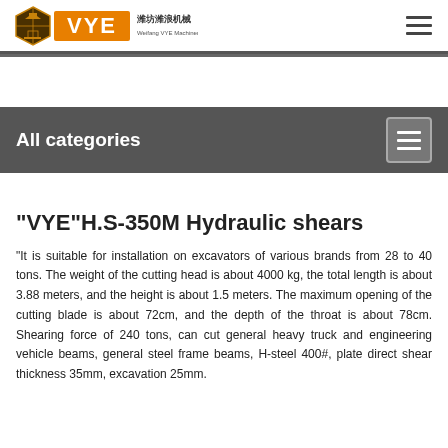VYE 潍坊潍浪机械 Weifang VYE Machinery Co. LTD
All categories
“VYE”H.S-350M Hydraulic shears
“It is suitable for installation on excavators of various brands from 28 to 40 tons. The weight of the cutting head is about 4000 kg, the total length is about 3.88 meters, and the height is about 1.5 meters. The maximum opening of the cutting blade is about 72cm, and the depth of the throat is about 78cm. Shearing force of 240 tons, can cut general heavy truck and engineering vehicle beams, general steel frame beams, H-steel 400#, plate direct shear thickness 35mm, excavation 25mm.